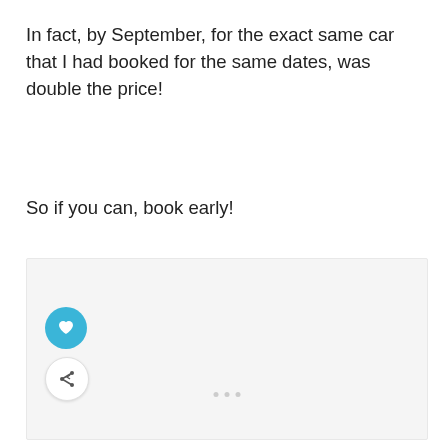In fact, by September, for the exact same car that I had booked for the same dates, was double the price!
So if you can, book early!
[Figure (other): Light gray image placeholder box with three small dots near the bottom center, a teal heart icon button on the lower left, and a share icon button below it.]